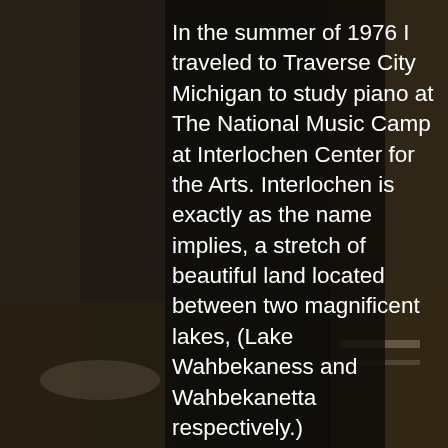[Figure (photo): Dark background photo of what appears to be a piano or musical instrument setting, with dim lighting creating a moody atmosphere. A semi-transparent dark overlay covers the center portion where text is displayed.]
In the summer of 1976 I traveled to Traverse City Michigan to study piano at The National Music Camp at Interlochen Center for the Arts. Interlochen is exactly as the name implies, a stretch of beautiful land located between two magnificent lakes, (Lake Wahbekaness and Wahbekanetta respectively.)

The day was beautifully hot, and a walk down to the lake was my first stop. As I